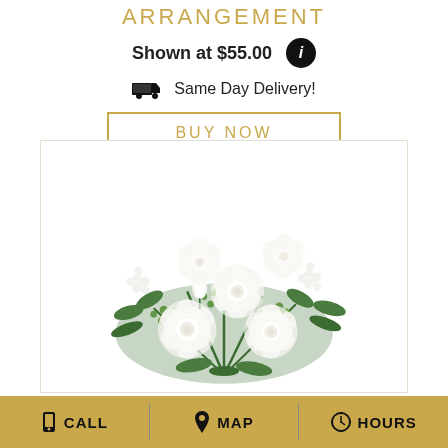ARRANGEMENT
Shown at $55.00
Same Day Delivery!
BUY NOW
[Figure (photo): A floral arrangement featuring white roses, white tulip buds, white stock flowers, and green berries with green foliage, photographed on a white background.]
CALL   MAP   HOURS